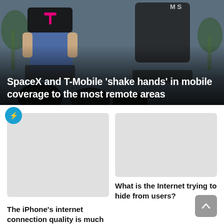[Figure (photo): Photo of two people seated at a panel event, with an audience visible in the foreground. One person wears a T-Mobile t-shirt. Background shows palm trees. The image has a dark gradient overlay at the bottom.]
SpaceX and T-Mobile ‘shake hands’ in mobile coverage to the most remote areas
[Figure (photo): Thumbnail image placeholder (light gray rectangle) for the iPhone internet connection article. Has a BuzzFeed lightning bolt icon badge in the top-left corner.]
The iPhone’s internet connection quality is much worse than its high-
[Figure (photo): Thumbnail image placeholder (light gray rectangle) for the Internet hiding from users article.]
What is the Internet trying to hide from users?